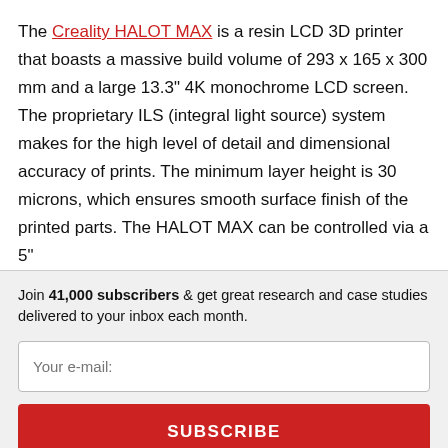The Creality HALOT MAX is a resin LCD 3D printer that boasts a massive build volume of 293 x 165 x 300 mm and a large 13.3" 4K monochrome LCD screen. The proprietary ILS (integral light source) system makes for the high level of detail and dimensional accuracy of prints. The minimum layer height is 30 microns, which ensures smooth surface finish of the printed parts. The HALOT MAX can be controlled via a 5"
Join 41,000 subscribers & get great research and case studies delivered to your inbox each month.
Your e-mail:
SUBSCRIBE
No thanks